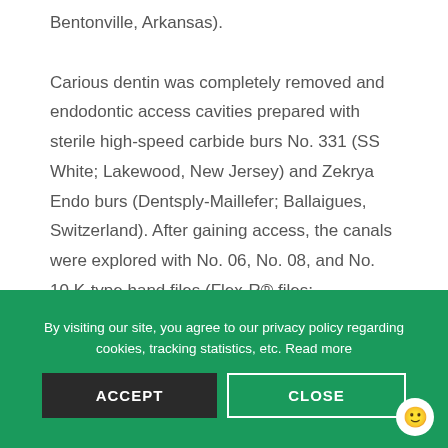Bentonville, Arkansas). Carious dentin was completely removed and endodontic access cavities prepared with sterile high-speed carbide burs No. 331 (SS White; Lakewood, New Jersey) and Zekrya Endo burs (Dentsply-Maillefer; Ballaigues, Switzerland). After gaining access, the canals were explored with No. 06, No. 08, and No. 10 K-type hand files (Flex-R® files; Moyco/Union Broach, York, Pennsylvania) according to the
By visiting our site, you agree to our privacy policy regarding cookies, tracking statistics, etc. Read more
ACCEPT
CLOSE